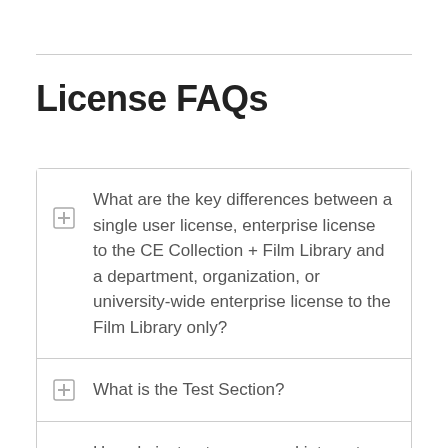License FAQs
What are the key differences between a single user license, enterprise license to the CE Collection + Film Library and a department, organization, or university-wide enterprise license to the Film Library only?
What is the Test Section?
How do instructors use and integrate the Test Section?
Which licenses include the Test Section?